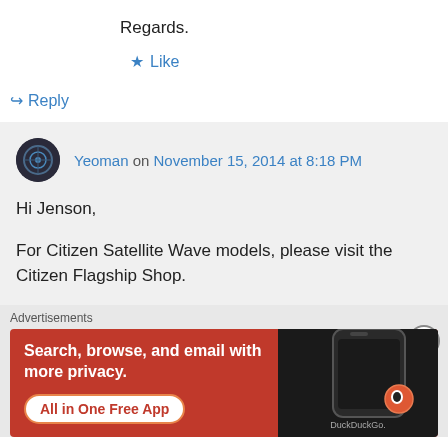Regards.
★ Like
↪ Reply
Yeoman on November 15, 2014 at 8:18 PM
Hi Jenson,
For Citizen Satellite Wave models, please visit the Citizen Flagship Shop.
[Figure (infographic): DuckDuckGo advertisement banner with orange background. Text reads: 'Search, browse, and email with more privacy. All in One Free App'. Shows a phone mockup with DuckDuckGo logo.]